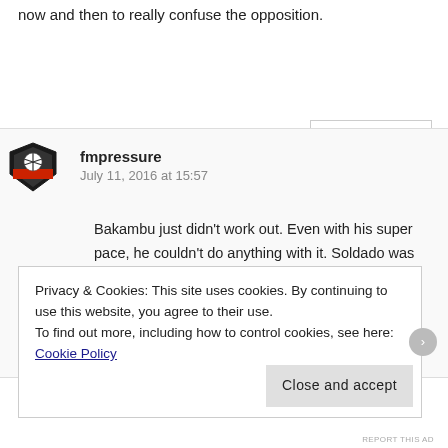now and then to really confuse the opposition.
REPLY
fmpressure
July 11, 2016 at 15:57
Bakambu just didn't work out. Even with his super pace, he couldn't do anything with it. Soldado was the opposite, he could do things, but couldn't run onto any balls. He scored though, so it saved him. Big summer of transfers ahead!
Privacy & Cookies: This site uses cookies. By continuing to use this website, you agree to their use.
To find out more, including how to control cookies, see here: Cookie Policy
Close and accept
REPORT THIS AD